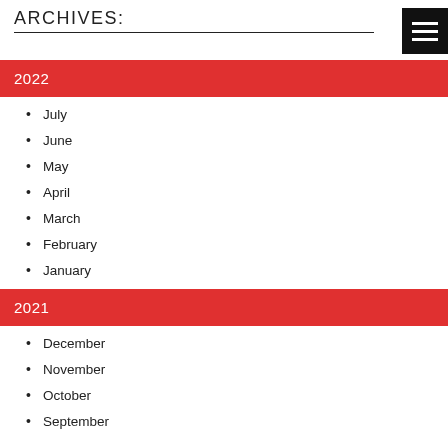ARCHIVES:
2022
July
June
May
April
March
February
January
2021
December
November
October
September